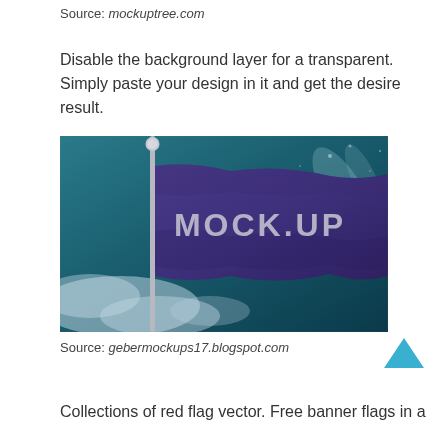Source: mockuptree.com
Disable the background layer for a transparent. Simply paste your design in it and get the desire result.
[Figure (photo): A purple flag with 'MOCK.UP' text on it, mounted on a flagpole against a dramatic teal/blue sky background.]
Source: gebermockups17.blogspot.com
Collections of red flag vector. Free banner flags in a